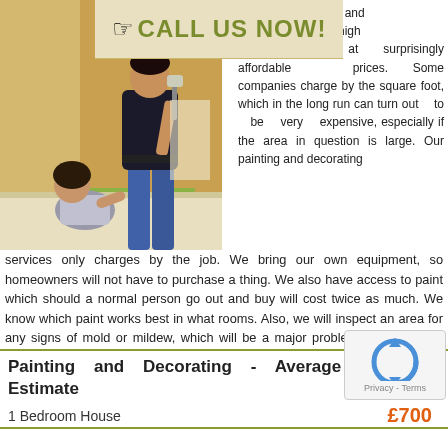[Figure (photo): Photo of two people painting a wall — one crouching, one standing with a paint roller]
[Figure (infographic): Call Us Now banner with hand pointer icon and olive/khaki background]
ng and ers high quality work at surprisingly affordable prices. Some companies charge by the square foot, which in the long run can turn out to be very expensive, especially if the area in question is large. Our painting and decorating services only charges by the job. We bring our own equipment, so homeowners will not have to purchase a thing. We also have access to paint which should a normal person go out and buy will cost twice as much. We know which paint works best in what rooms. Also, we will inspect an area for any signs of mold or mildew, which will be a major problem should we be putting up wallpaper.
| Painting and Decorating - Average Estimate | Price |
| --- | --- |
| 1 Bedroom House | £700 |
[Figure (logo): reCAPTCHA widget with recycle-arrows icon and Privacy - Terms text]